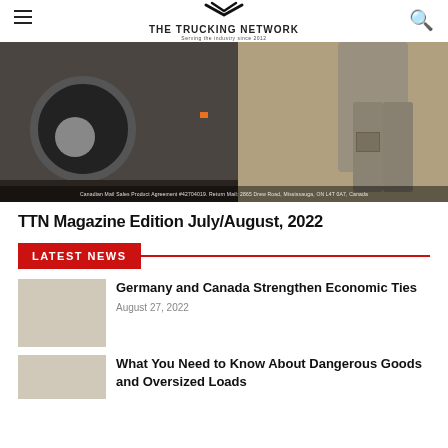THE TRUCKING NETWORK — Serving the industry since 2012
[Figure (photo): Hero image showing a truck tire closeup on the left and a person in cargo pants standing next to the truck on the right. Caption reads: Canadian Mail Sales Product Agreement #42704019. Return Mail: 2865 Drew Road, Mississauga, ON L4T 0A7, Canada]
TTN Magazine Edition July/August, 2022
LATEST NEWS
Germany and Canada Strengthen Economic Ties
August 27, 2022
What You Need to Know About Dangerous Goods and Oversized Loads